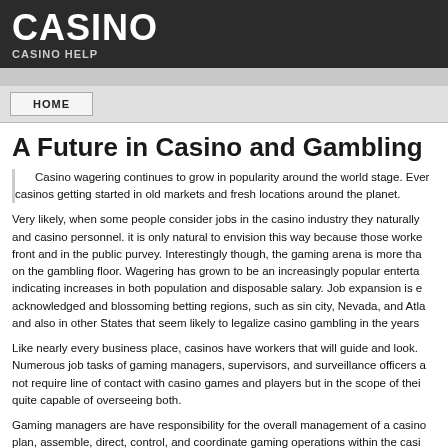CASINO
CASINO HELP
HOME
A Future in Casino and Gambling
Casino wagering continues to grow in popularity around the world stage. Ever casinos getting started in old markets and fresh locations around the planet.
Very likely, when some people consider jobs in the casino industry they naturally and casino personnel. it is only natural to envision this way because those worke front and in the public purvey. Interestingly though, the gaming arena is more tha on the gambling floor. Wagering has grown to be an increasingly popular enterta indicating increases in both population and disposable salary. Job expansion is e acknowledged and blossoming betting regions, such as sin city, Nevada, and Atla and also in other States that seem likely to legalize casino gambling in the years
Like nearly every business place, casinos have workers that will guide and look. Numerous job tasks of gaming managers, supervisors, and surveillance officers a not require line of contact with casino games and players but in the scope of thei quite capable of overseeing both.
Gaming managers are have responsibility for the overall management of a casino plan, assemble, direct, control, and coordinate gaming operations within the casi rules; and determine, train, and organize activities of gaming employees. Becaus